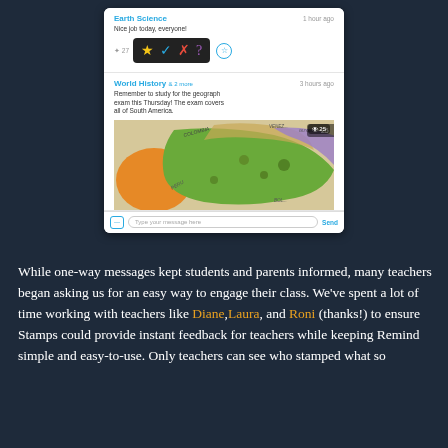[Figure (screenshot): Mobile app screenshot showing two message threads: 'Earth Science' (1 hour ago) with 'Nice job today everyone!' and emoji stamp reaction overlay (star, checkmark, X, question mark), and 'World History & 2 more' (3 hours ago) with message about geography exam and a South America map image with 25 views. Below is a message input bar.]
While one-way messages kept students and parents informed, many teachers began asking us for an easy way to engage their class. We've spent a lot of time working with teachers like Diane,Laura, and Roni (thanks!) to ensure Stamps could provide instant feedback for teachers while keeping Remind simple and easy-to-use. Only teachers can see who stamped what so